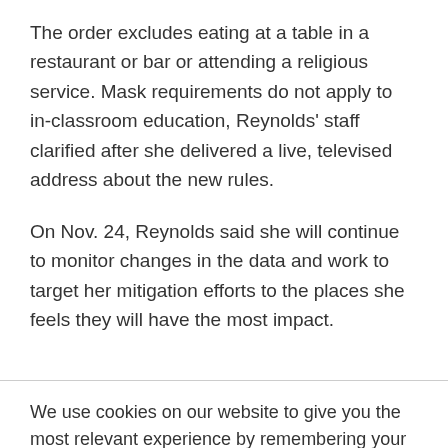The order excludes eating at a table in a restaurant or bar or attending a religious service. Mask requirements do not apply to in-classroom education, Reynolds' staff clarified after she delivered a live, televised address about the new rules.
On Nov. 24, Reynolds said she will continue to monitor changes in the data and work to target her mitigation efforts to the places she feels they will have the most impact.
We use cookies on our website to give you the most relevant experience by remembering your preferences and repeat visits. By clicking “Accept”, you consent to the use of ALL the cookies.
Cookie settings | ACCEPT